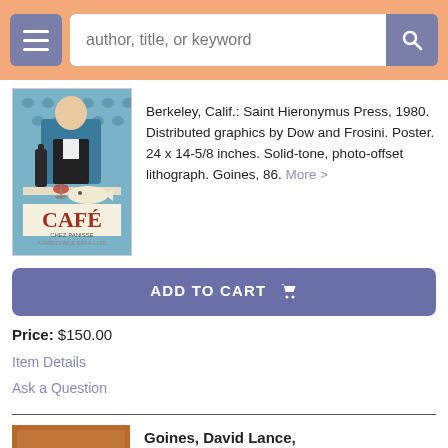[Figure (screenshot): Website header bar with hamburger menu, search input field with placeholder 'author, title, or keyword', and search button]
[Figure (photo): Book/poster item showing a Cafe Chez Panisse poster with a person, wine bottle, and fish illustration]
Berkeley, Calif.: Saint Hieronymus Press, 1980. Distributed graphics by Dow and Frosini. Poster. 24 x 14-5/8 inches. Solid-tone, photo-offset lithograph. Goines, 86. More >
ADD TO CART
Price: $150.00
Item Details
Ask a Question
Goines, David Lance,